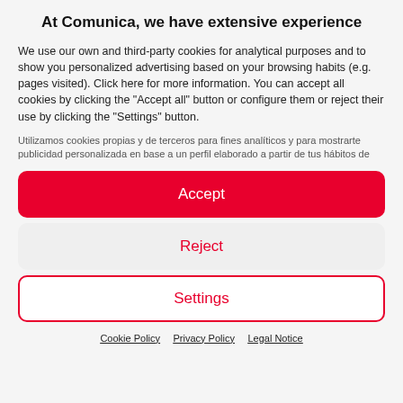At Comunica, we have extensive experience
We use our own and third-party cookies for analytical purposes and to show you personalized advertising based on your browsing habits (e.g. pages visited). Click here for more information. You can accept all cookies by clicking the "Accept all" button or configure them or reject their use by clicking the "Settings" button.
Utilizamos cookies propias y de terceros para fines analíticos y para mostrarte publicidad personalizada en base a un perfil elaborado a partir de tus hábitos de
Accept
Reject
Settings
Cookie Policy  Privacy Policy  Legal Notice